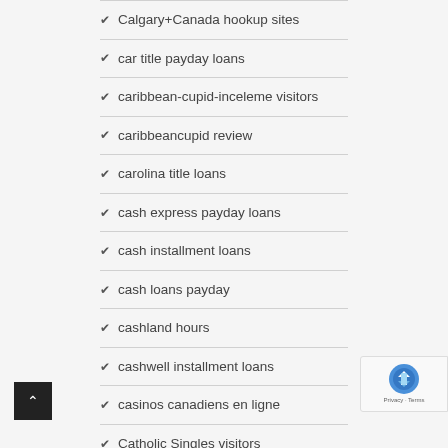Calgary+Canada hookup sites
car title payday loans
caribbean-cupid-inceleme visitors
caribbeancupid review
carolina title loans
cash express payday loans
cash installment loans
cash loans payday
cashland hours
cashwell installment loans
casinos canadiens en ligne
Catholic Singles visitors
catholicmatch review